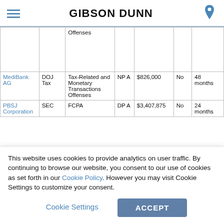GIBSON DUNN
|  |  | Offenses |  |  |  |  |
| --- | --- | --- | --- | --- | --- | --- |
| MediBank AG | DOJ Tax | Tax-Related and Monetary Transactions Offenses | NPA | $826,000 | No | 48 months |
| PBSJ Corporation | SEC | FCPA | DPA | $3,407,875 | No | 24 months |
This website uses cookies to provide analytics on user traffic. By continuing to browse our website, you consent to our use of cookies as set forth in our Cookie Policy. However you may visit Cookie Settings to customize your consent.
Cookie Settings
ACCEPT